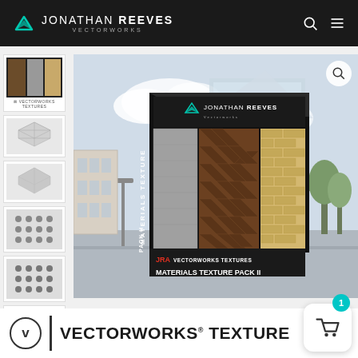JONATHAN REEVES VECTORWORKS
[Figure (screenshot): Product page screenshot showing Vectorworks Materials Texture Pack II box with street background, thumbnail sidebar, and bottom navigation bar]
VECTORWORKS TEXTURE